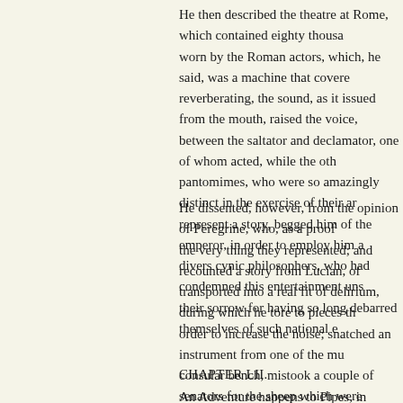He then described the theatre at Rome, which contained eighty thousand worn by the Roman actors, which, he said, was a machine that covered reverberating, the sound, as it issued from the mouth, raised the voice, between the saltator and declamator, one of whom acted, while the oth pantomimes, who were so amazingly distinct in the exercise of their ar represent a story, begged him of the emperor, in order to employ him a divers cynic philosophers, who had condemned this entertainment uns their sorrow for having so long debarred themselves of such national e
He dissented, however, from the opinion of Peregrine, who, as a proof the very thing they represented; and recounted a story from Lucian, of transported into a real fit of delirium, during which he tore to pieces th order to increase the noise; snatched an instrument from one of the mu consular bench, mistook a couple of senators for the sheep which were of his own extravagance when he recovered the use of his reason, that piece, flatly refused to appear in any such character, saying that the sh once in his life.
CHAPTER LII.
An Adventure happens to Pipes, in consequence of which he is dismis